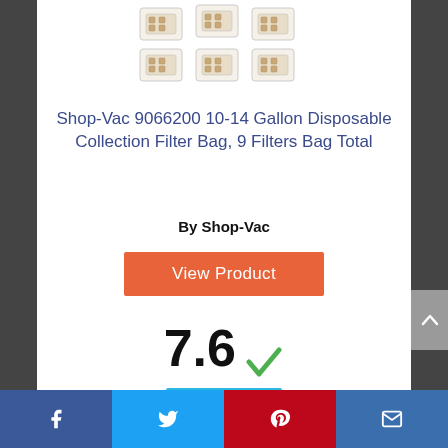[Figure (photo): Product image showing filter bags for Shop-Vac, displayed as multiple flat bags laid out]
Shop-Vac 9066200 10-14 Gallon Disposable Collection Filter Bag, 9 Filters Bag Total
By Shop-Vac
View Product
7.6
Score
[Figure (other): Partial circular element visible at bottom of page (next product section)]
Facebook | Twitter | Pinterest | Email social sharing bar